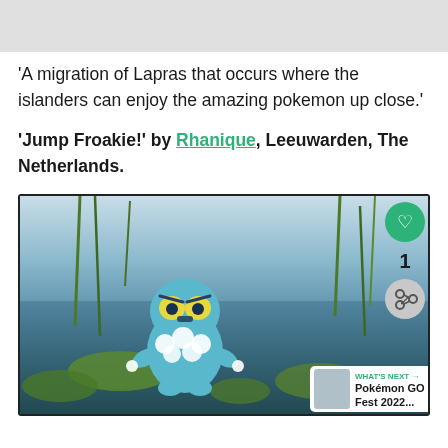[Figure (photo): Top portion of a photo, light grey/white placeholder area at top of page]
'A migration of Lapras that occurs where the islanders can enjoy the amazing pokemon up close.'
'Jump Froakie!' by Rhanique, Leeuwarden, The Netherlands.
[Figure (photo): Photo of a Froakie Pokemon GO AR character sitting on a lily pad in a pond with reeds and water reflections, with a heart button, share button, number 1, and 'WHAT'S NEXT: Pokémon GO Fest 2022...' overlay in bottom right.]